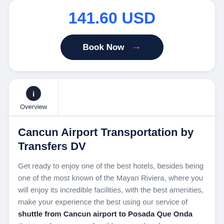141.60 USD
Book Now →
Overview
Cancun Airport Transportation by Transfers DV
Get ready to enjoy one of the best hotels, besides being one of the most known of the Mayan Riviera, where you will enjoy its incredible facilities, with the best amenities, make your experience the best using our service of shuttle from Cancun airport to Posada Que Onda that transfers you comfortably to your hotel.